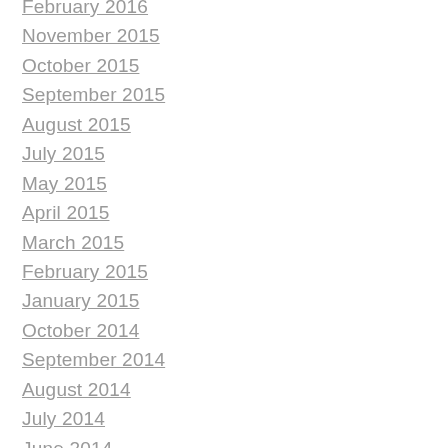February 2016
November 2015
October 2015
September 2015
August 2015
July 2015
May 2015
April 2015
March 2015
February 2015
January 2015
October 2014
September 2014
August 2014
July 2014
June 2014
May 2014
April 2014
March 2014